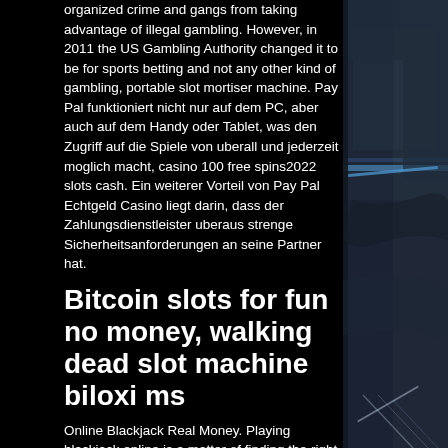organized crime and gangs from taking advantage of illegal gambling. However, in 2011 the US Gambling Authority changed it to be for sports betting and not any other kind of gambling, portable slot mortiser machine. Pay Pal funktioniert nicht nur auf dem PC, aber auch auf dem Handy oder Tablet, was den Zugriff auf die Spiele von uberall und jederzeit moglich macht, casino 100 free spins2022 slots cash. Ein weiterer Vorteil von Pay Pal Echtgeld Casino liegt darin, dass der Zahlungsdienstleister uberaus strenge Sicherheitsanforderungen an seine Partner hat.
Bitcoin slots for fun no money, walking dead slot machine biloxi ms
Online Blackjack Real Money. Playing blackjack online is a matter of finding the right casino site, and here at...
[Figure (illustration): Dark abstract painting showing architectural/interior elements with blue-grey tones, appearing to show a corridor or room with geometric shapes and brushstroke textures.]